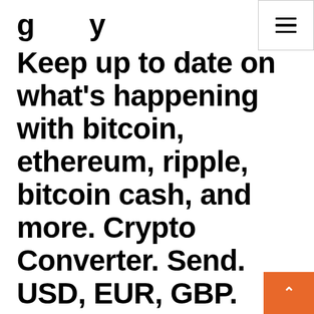Keep up to date on what's happening with bitcoin, ethereum, ripple, bitcoin cash, and more. Crypto Converter. Send. USD, EUR, GBP.
BTC; ETH; OKB. 1 BTC =    ---. Log in. Sign up. Our Advantages. C2C Trading. Intuitive UI allowing professionals to trade tokens with fiat currency conveniently. Buy Bitcoin, Ether Litecoin, Ripple and other cryptocurrencies in 162 countries across the globe with ZebPay Cryptocurrency Exchange. GateHub is a platform for the Internet of Value, built on XRP Ledger protocol. It allows everyone to send, receive, trade and manage any type of